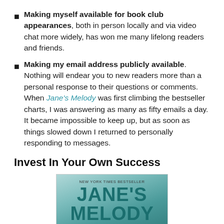Making myself available for book club appearances, both in person locally and via video chat more widely, has won me many lifelong readers and friends.
Making my email address publicly available. Nothing will endear you to new readers more than a personal response to their questions or comments. When Jane's Melody was first climbing the bestseller charts, I was answering as many as fifty emails a day. It became impossible to keep up, but as soon as things slowed down I returned to personally responding to messages.
Invest In Your Own Success
[Figure (photo): Book cover of Jane's Melody, labeled 'New York Times Bestseller', showing teal/turquoise large text 'JANE'S' and partially visible 'MELODY' below, with 'a novel' in small text.]